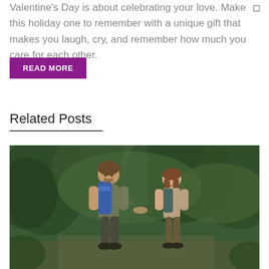Valentine's Day is about celebrating your love. Make this holiday one to remember with a unique gift that makes you laugh, cry, and remember how much you care for each other.
READ MORE
Related Posts
[Figure (photo): A couple hiking together in a forest, the man wearing a blue backpack and smiling at the woman, both outdoors in green wooded surroundings.]